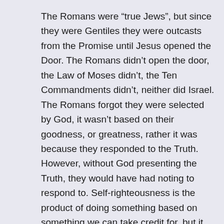The Romans were “true Jews”, but since they were Gentiles they were outcasts from the Promise until Jesus opened the Door. The Romans didn’t open the door, the Law of Moses didn’t, the Ten Commandments didn’t, neither did Israel. The Romans forgot they were selected by God, it wasn’t based on their goodness, or greatness, rather it was because they responded to the Truth. However, without God presenting the Truth, they would have had noting to respond to. Self-righteousness is the product of doing something based on something we can take credit for, but it only lasts for the moment. If we do a deed from the Law of Moses we have right standing with the Law, but it doesn’t mean we have Right standing before God. We could be justified before the Law by an act of self-righteousness but it doesn’t mean we are justified before, or by God. The justification in the Law was momentary, as soon as it was granted, it was lost, meaning the effort had to begin all over again. The biggest problem with self-righteousness is having to use the flesh to obtain, which means the effort ends in pride, causing the Commandment Thou shall not covet to condemn the doer, meaning the